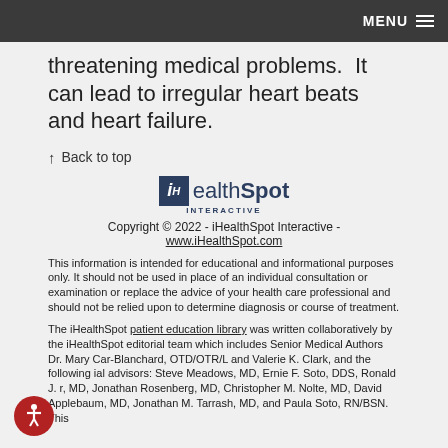MENU
threatening medical problems.  It can lead to irregular heart beats and heart failure.
↑  Back to top
[Figure (logo): iHealthSpot Interactive logo — square with italic 'iH' on dark blue background followed by 'ealthSpot' text and 'INTERACTIVE' subtitle]
Copyright © 2022 - iHealthSpot Interactive - www.iHealthSpot.com
This information is intended for educational and informational purposes only. It should not be used in place of an individual consultation or examination or replace the advice of your health care professional and should not be relied upon to determine diagnosis or course of treatment.
The iHealthSpot patient education library was written collaboratively by the iHealthSpot editorial team which includes Senior Medical Authors Dr. Mary Car-Blanchard, OTD/OTR/L and Valerie K. Clark, and the following ial advisors: Steve Meadows, MD, Ernie F. Soto, DDS, Ronald J. r, MD, Jonathan Rosenberg, MD, Christopher M. Nolte, MD, David Applebaum, MD, Jonathan M. Tarrash, MD, and Paula Soto, RN/BSN. This